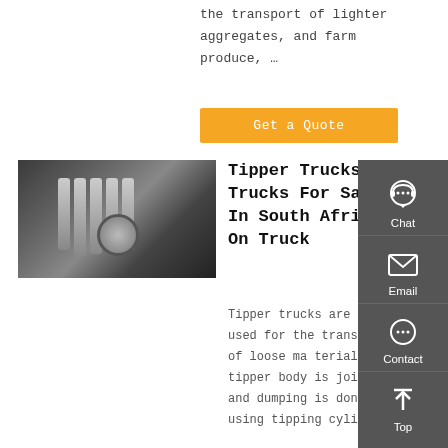the transport of lighter aggregates, and farm produce, …
Get a Quote
[Figure (photo): Close-up mechanical/engine view of a truck from underneath, showing cylindrical components and mechanical parts in dark tones]
Tipper Trucks Trucks For Sale In South Africa On Truck
Tipper trucks are mainly used for the transport of loose ma terials. The tipper body is jointed and dumping is done using tipping cylinders
[Figure (other): Dark sidebar panel with Chat, Email, Contact, and Top navigation icons]